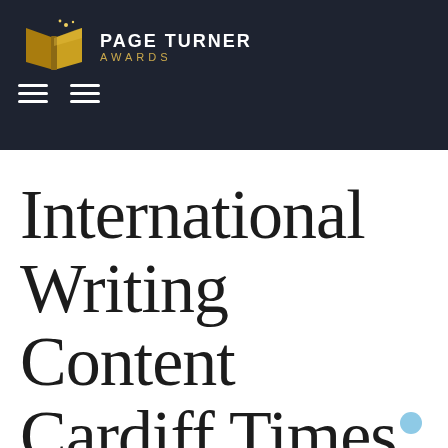[Figure (logo): Page Turner Awards logo with golden open book and white/gold text reading PAGE TURNER AWARDS]
[Figure (other): Two hamburger menu icons side by side in white on dark background]
International Writing Content Cardiff Times